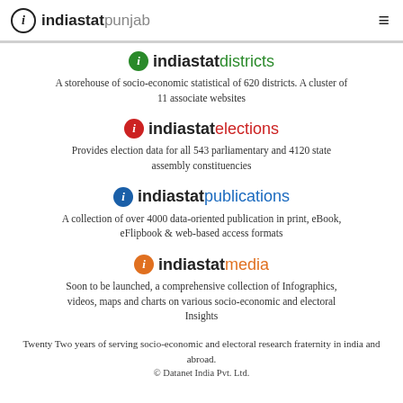indiastat punjab
[Figure (logo): indiastatdistricts logo with green circle i icon]
A storehouse of socio-economic statistical of 620 districts. A cluster of 11 associate websites
[Figure (logo): indiastatelections logo with red circle i icon]
Provides election data for all 543 parliamentary and 4120 state assembly constituencies
[Figure (logo): indiastatpublications logo with blue circle i icon]
A collection of over 4000 data-oriented publication in print, eBook, eFlipbook & web-based access formats
[Figure (logo): indiastatmedia logo with orange circle i icon]
Soon to be launched, a comprehensive collection of Infographics, videos, maps and charts on various socio-economic and electoral Insights
Twenty Two years of serving socio-economic and electoral research fraternity in india and abroad.
© Datanet India Pvt. Ltd.